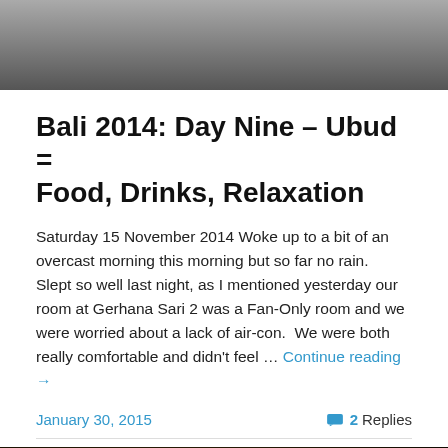[Figure (photo): Top portion of an outdoor photo, grey/overcast tones, partial view of ground and dark object]
Bali 2014: Day Nine – Ubud = Food, Drinks, Relaxation
Saturday 15 November 2014 Woke up to a bit of an overcast morning this morning but so far no rain.  Slept so well last night, as I mentioned yesterday our room at Gerhana Sari 2 was a Fan-Only room and we were worried about a lack of air-con.  We were both really comfortable and didn't feel … Continue reading →
January 30, 2015
2 Replies
[Figure (photo): Dark interior photo, possibly a restaurant or ornate building interior at night, warm light in center]